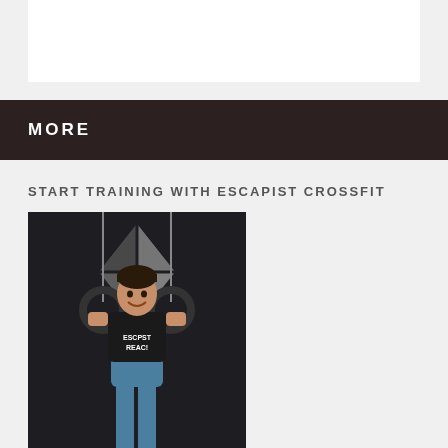[Figure (photo): White card/box on light gray background at top of page]
MORE
START TRAINING WITH ESCAPIST CROSSFIT
[Figure (photo): Woman in blue leggings and black ESCAPIST t-shirt doing gymnastics ring dips/support hold in a CrossFit gym, with a diamond/triangular logo on the dark wall behind her]